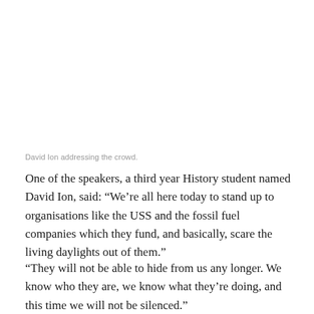David Ion addressing the crowd.
One of the speakers, a third year History student named David Ion, said: “We’re all here today to stand up to organisations like the USS and the fossil fuel companies which they fund, and basically, scare the living daylights out of them.”
“They will not be able to hide from us any longer. We know who they are, we know what they’re doing, and this time we will not be silenced.”